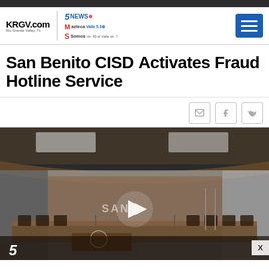KRGV.com | 5News | Azteca | Somos
San Benito CISD Activates Fraud Hotline Service
[Figure (screenshot): Video thumbnail showing a school board meeting room with wooden furniture and a play button overlay. A '5' channel badge is visible at the bottom left.]